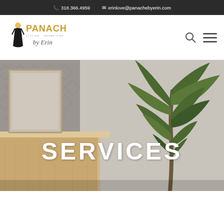318.366.4959  erinlove@panachebyerin.com
[Figure (logo): Panache by Erin logo with stylized woman in black dress and gold text reading PANACHE STYLING ORGANIZING PLANNING by Erin]
[Figure (photo): Hero banner showing an interior scene with a wooden reception desk, geometric wallpaper, and a tall tropical plant. White bold text overlay reads SERVICES.]
SERVICES